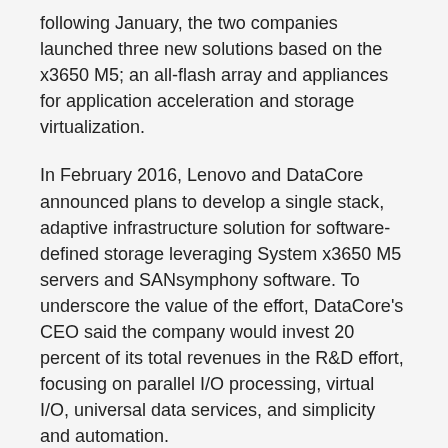following January, the two companies launched three new solutions based on the x3650 M5; an all-flash array and appliances for application acceleration and storage virtualization.
In February 2016, Lenovo and DataCore announced plans to develop a single stack, adaptive infrastructure solution for software-defined storage leveraging System x3650 M5 servers and SANsymphony software. To underscore the value of the effort, DataCore's CEO said the company would invest 20 percent of its total revenues in the R&D effort, focusing on parallel I/O processing, virtual I/O, universal data services, and simplicity and automation.
Lenovo's DX8200D with DataCore's SANsymphony is the result of those strategic efforts.
Overall, the DX8200D seems entirely capable of